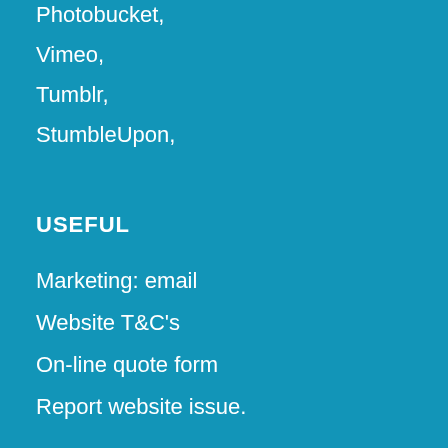Photobucket,
Vimeo,
Tumblr,
StumbleUpon,
USEFUL
Marketing: email
Website T&C's
On-line quote form
Report website issue.